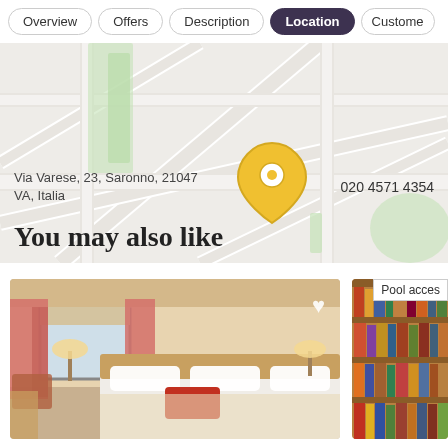Overview | Offers | Description | Location | Customer
[Figure (map): Street map showing location pin at Via Varese, 23, Saronno, 21047 VA, Italia with phone 020 4571 4354]
Via Varese, 23, Saronno, 21047
VA, Italia
020 4571 4354
You may also like
[Figure (photo): Hotel room with floral curtains, double bed with red pillows, warm lighting]
[Figure (photo): Library or bookshelf area, partially visible on right side]
Pool acces
£50
Book a room